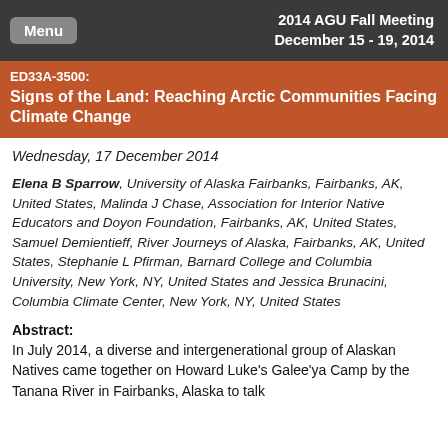2014 AGU Fall Meeting
December 15 - 19, 2014
ED33A-3500: Signs of the Land: Reaching Arctic Communities Facing Climate Change
Wednesday, 17 December 2014
Elena B Sparrow, University of Alaska Fairbanks, Fairbanks, AK, United States, Malinda J Chase, Association for Interior Native Educators and Doyon Foundation, Fairbanks, AK, United States, Samuel Demientieff, River Journeys of Alaska, Fairbanks, AK, United States, Stephanie L Pfirman, Barnard College and Columbia University, New York, NY, United States and Jessica Brunacini, Columbia Climate Center, New York, NY, United States
Abstract:
In July 2014, a diverse and intergenerational group of Alaskan Natives came together on Howard Luke's Galee'ya Camp by the Tanana River in Fairbanks, Alaska to talk about climate change and their concerns and opportunities